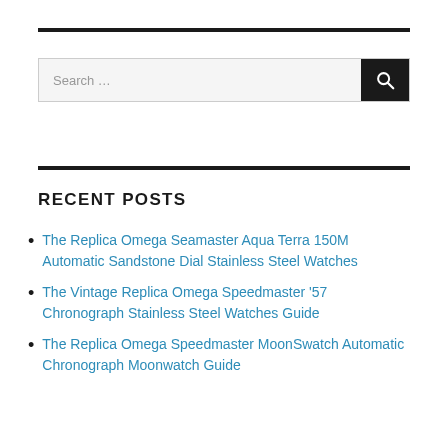[Figure (other): Horizontal black rule divider at top]
[Figure (screenshot): Search bar with text input field labeled 'Search ...' and a black search button with magnifying glass icon]
[Figure (other): Horizontal black rule divider below search bar]
RECENT POSTS
The Replica Omega Seamaster Aqua Terra 150M Automatic Sandstone Dial Stainless Steel Watches
The Vintage Replica Omega Speedmaster '57 Chronograph Stainless Steel Watches Guide
The Replica Omega Speedmaster MoonSwatch Automatic Chronograph Moonwatch Guide